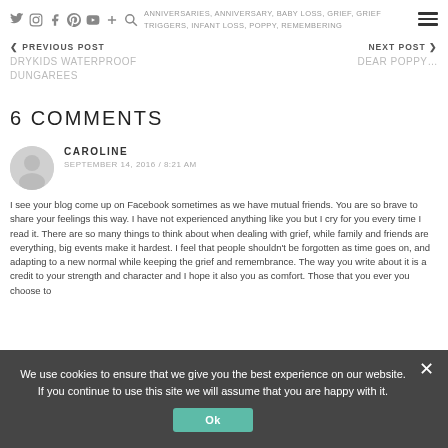ANNIVERSARIES, ANNIVERSARY, BABY LOSS, GRIEF, GRIEF TRIGGERS, INFANT LOSS, POPPY, REMEMBERING
< PREVIOUS POST
DRYKIDS WATERPROOF DUNGAREES
NEXT POST >
DEAR POPPY...
6 COMMENTS
CAROLINE
SEPTEMBER 14, 2016 / 8:21 AM
I see your blog come up on Facebook sometimes as we have mutual friends. You are so brave to share your feelings this way. I have not experienced anything like you but I cry for you every time I read it. There are so many things to think about when dealing with grief, while family and friends are everything, big events make it hardest. I feel that people shouldn't be forgotten as time goes on, and adapting to a new normal while keeping the grief and remembrance. The way you write about it is a credit to your strength and character and I hope it also you as comfort. Those that you ever you choose to
We use cookies to ensure that we give you the best experience on our website. If you continue to use this site we will assume that you are happy with it.
Ok